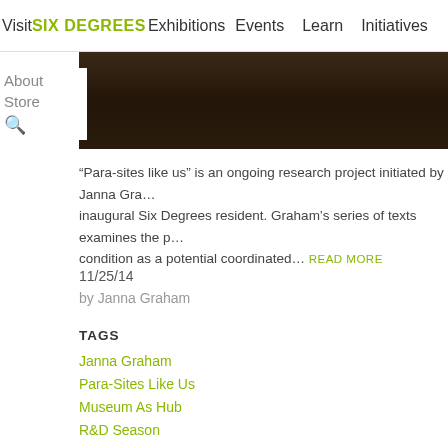Visit  SIX DEGREES  Exhibitions  Events  Learn  Initiatives
[Figure (photo): Dark hero image with brownish tones, partially obscured by overlay]
About  Store
“Para-sites like us” is an ongoing research project initiated by Janna Gra… inaugural Six Degrees resident. Graham's series of texts examines the p… condition as a potential coordinated… READ MORE
11/25/14
by Janna Graham
TAGS
Janna Graham
Para-Sites Like Us
Museum As Hub
R&D Season
Fieldwork
Pedagogy
Six Degrees Resident